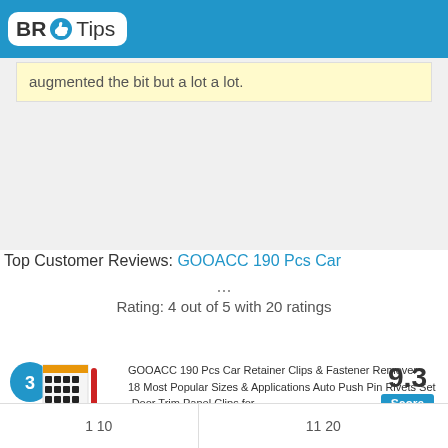BR Tips
augmented the bit but a lot a lot.
[Figure (photo): GOOACC car retainer clips set with 190 pieces and fastener remover tool]
GOOACC 190 Pcs Car Retainer Clips & Fastener Remover - 18 Most Popular Sizes & Applications Auto Push Pin Rivets Set -Door Trim Panel Clips for
GOOACC
9.3 Score
Top Customer Reviews: GOOACC 190 Pcs Car ...
Rating: 4 out of 5 with 20 ratings
| 1 10 | 11 20 |
| --- | --- |